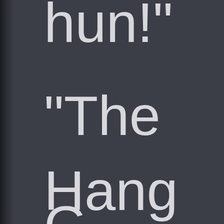hun!"
"The
Hang
G...
[Figure (other): Dark gray book cover or page background with spine visible on the left edge, showing large light-colored sans-serif text fragments: 'hun!"', '"The', 'Hang', and partial 'G' at bottom]